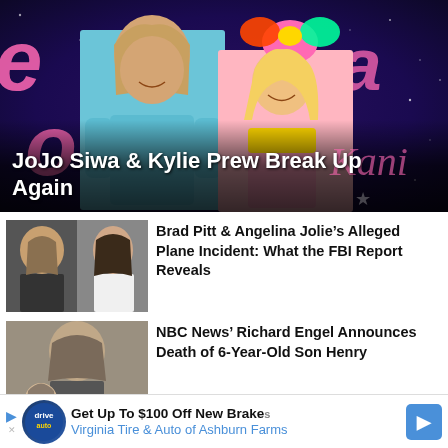[Figure (photo): Hero image of JoJo Siwa and Kylie Prew posing together at an event with pink decorative letters in background]
JoJo Siwa & Kylie Prew Break Up Again
[Figure (photo): Thumbnail showing Brad Pitt and Angelina Jolie side by side]
Brad Pitt & Angelina Jolie's Alleged Plane Incident: What the FBI Report Reveals
[Figure (photo): Thumbnail showing NBC News' Richard Engel with a child]
NBC News' Richard Engel Announces Death of 6-Year-Old Son Henry
Get Up To $100 Off New Brakes Virginia Tire & Auto of Ashburn Farms